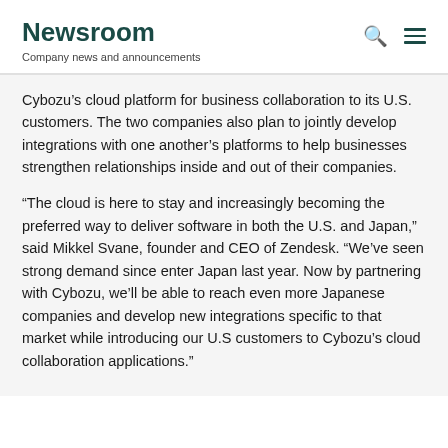Newsroom
Company news and announcements
Cybozu’s cloud platform for business collaboration to its U.S. customers. The two companies also plan to jointly develop integrations with one another’s platforms to help businesses strengthen relationships inside and out of their companies.
“The cloud is here to stay and increasingly becoming the preferred way to deliver software in both the U.S. and Japan,” said Mikkel Svane, founder and CEO of Zendesk. “We’ve seen strong demand since enter Japan last year. Now by partnering with Cybozu, we’ll be able to reach even more Japanese companies and develop new integrations specific to that market while introducing our U.S customers to Cybozu’s cloud collaboration applications.”